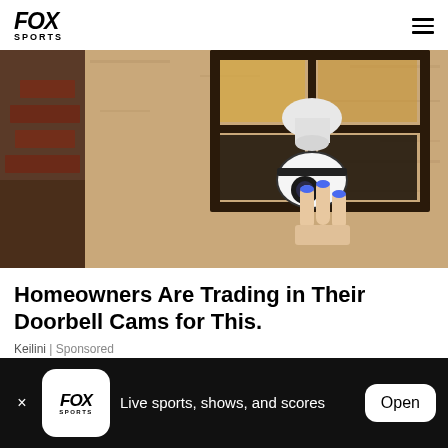FOX SPORTS
[Figure (photo): A person with blue nail polish installing or adjusting a white security camera bulb inside an outdoor lantern fixture mounted on a textured stone/stucco wall]
Homeowners Are Trading in Their Doorbell Cams for This.
Keilini | Sponsored
FOX SPORTS — Live sports, shows, and scores — Open